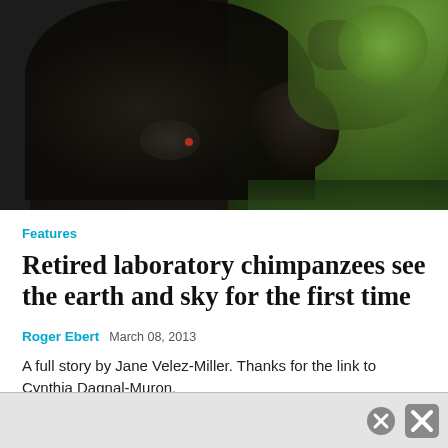[Figure (photo): A chimpanzee sitting outdoors with arm raised, dark fur against green foliage background]
Features
Retired laboratory chimpanzees see the earth and sky for the first time
Roger Ebert   March 08, 2013
A full story by Jane Velez-Miller. Thanks for the link to Cynthia Dagnal-Muron.